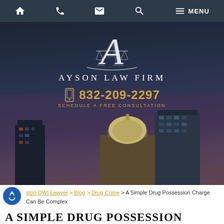Navigation bar with home, phone, email, search, and menu icons
[Figure (logo): Ayson Law Firm logo with stylized A and scales of justice, firm name, phone number 832-209-2297, and Schedule a Free Consultation text, overlaid on dark blue hero image with city skyline]
Houston DWI Lawyer > Blog > Drug Crime > A Simple Drug Possession Charge Can Be Complex
A SIMPLE DRUG POSSESSION